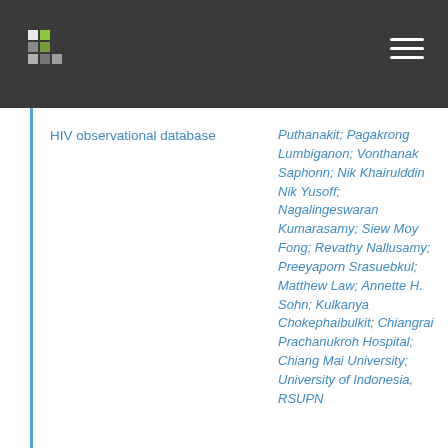HIV observational database
Puthanakit; Pagakrong Lumbiganon; Vonthanak Saphonn; Nik Khairulddin Nik Yusoff; Nagalingeswaran Kumarasamy; Siew Moy Fong; Revathy Nallusamy; Preeyaporn Srasuebkul; Matthew Law; Annette H. Sohn; Kulkanya Chokephaibulkit; Chiangrai Prachanukroh Hospital; Chiang Mai University; University of Indonesia, RSUPN